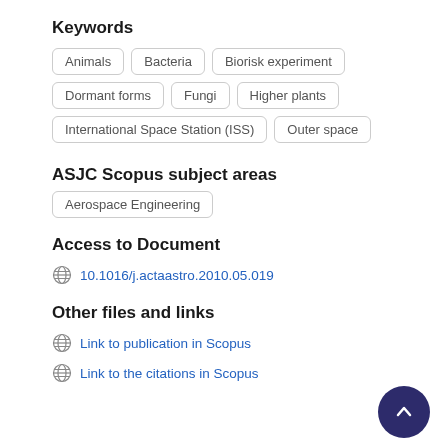Keywords
Animals
Bacteria
Biorisk experiment
Dormant forms
Fungi
Higher plants
International Space Station (ISS)
Outer space
ASJC Scopus subject areas
Aerospace Engineering
Access to Document
10.1016/j.actaastro.2010.05.019
Other files and links
Link to publication in Scopus
Link to the citations in Scopus